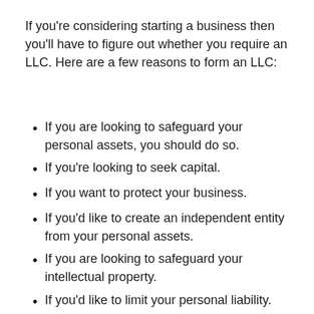If you're considering starting a business then you'll have to figure out whether you require an LLC. Here are a few reasons to form an LLC:
If you are looking to safeguard your personal assets, you should do so.
If you're looking to seek capital.
If you want to protect your business.
If you'd like to create an independent entity from your personal assets.
If you are looking to safeguard your intellectual property.
If you'd like to limit your personal liability.